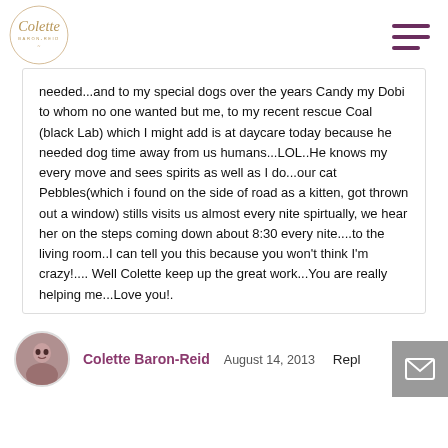[Figure (logo): Colette Baron-Reid circular logo with cursive text]
needed...and to my special dogs over the years Candy my Dobi to whom no one wanted but me, to my recent rescue Coal (black Lab) which I might add is at daycare today because he needed dog time away from us humans...LOL..He knows my every move and sees spirits as well as I do...our cat Pebbles(which i found on the side of road as a kitten, got thrown out a window) stills visits us almost every nite spirtually, we hear her on the steps coming down about 8:30 every nite....to the living room..I can tell you this because you won't think I'm crazy!.... Well Colette keep up the great work...You are really helping me...Love you!.
Colette Baron-Reid   August 14, 2013   Reply